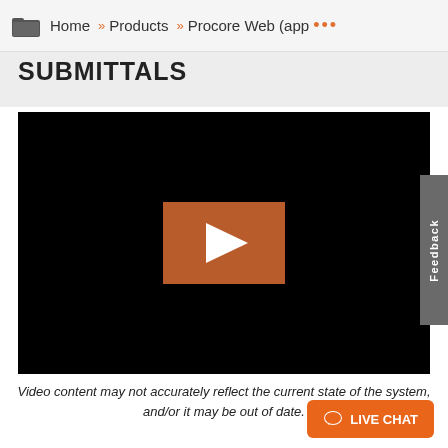Home » Products » Procore Web (app …
SUBMITTALS
[Figure (screenshot): Video player with black background and orange/brown play button in the center]
Video content may not accurately reflect the current state of the system, and/or it may be out of date.